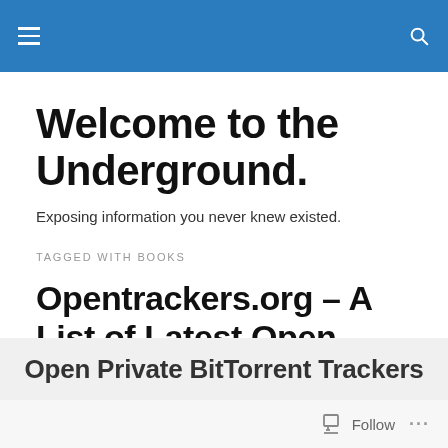Welcome to the Underground
Welcome to the Underground.
Exposing information you never knew existed.
TAGGED WITH BOOKS
Opentrackers.org – A List of Latest Open Private Trackers
Open Private BitTorrent Trackers
Follow